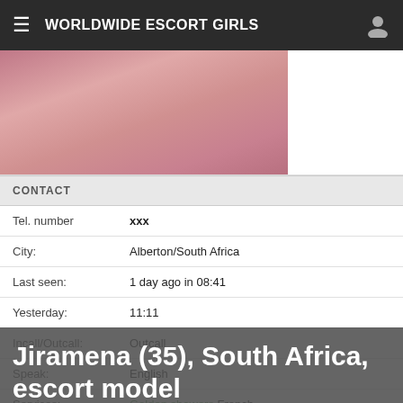WORLDWIDE ESCORT GIRLS
[Figure (photo): Partial torso photo with pink fabric background]
CONTACT
| Tel. number | xxx |
| City: | Alberton/South Africa |
| Last seen: | 1 day ago in 08:41 |
| Yesterday: | 11:11 |
| Incall/Outcall: | Outcall |
| Speak: | English |
| Services: | Golden showers,French Kissing,You,Dirtytalk,Cum on body,Bbw med olja (aysugning med användning av olja) |
Jiramena (35), South Africa, escort model